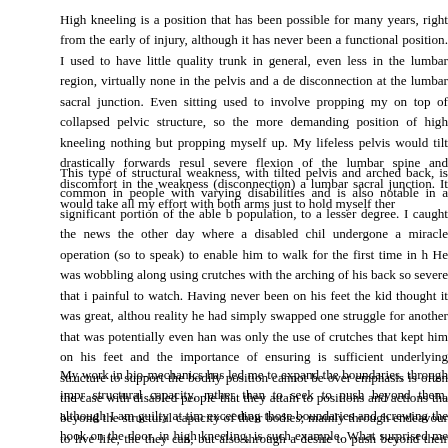High kneeling is a position that has been possible for many years, right from the early of injury, although it has never been a functional position. I used to have little quality trunk in general, even less in the lumbar region, virtually none in the pelvis and a de disconnection at the lumbar sacral junction. Even sitting used to involve propping my on top of collapsed pelvic structure, so the more demanding position of high kneeling nothing but propping myself up. My lifeless pelvis would tilt drastically forwards resul severe flexion of the lumbar spine and discomfort in the weakness (disconnection) a lumbar sacral junction. It would take all my effort with both arms just to hold myself ther
This type of structural weakness, with tilted pelvis and arched back, is common in people with varying disabilities and is also notable in a significant portion of the able b population, to a lesser degree. I caught the news the other day where a disabled chil undergone a miracle operation (so to speak) to enable him to walk for the first time in h He was wobbling along using crutches with the arching of his back so severe that i painful to watch. Having never been on his feet the kid thought it was great, althou reality he had simply swapped one struggle for another that was potentially even han was only the use of crutches that kept him on his feet and the importance of ensuring is sufficient underlying structure to support the bodily position cannot be over emphasis is often the case with disabled people that they attain to positions and actions tha beyond the structural capacity of their bodies; mainly through endeavour to live life, the they can, but also through a desire to push beyond their boundaries.
My work in bio-mechanics has led me to expand the boundaries, through impr structural capacity, rather than to seek to push beyond them, although I am guilty at tim exceeding those boundaries and screwing the hook on the door, in high kneeling, is such example. What surprised me this time, though, was the involvement of the sacrum never known that feeling before, nor such capability. I wasn't sure it would work, but fo could use my left elbow, against the door, to hold myself up and still use my left hand to the screw, while using the screwdriver with my right. With new structural capacity...